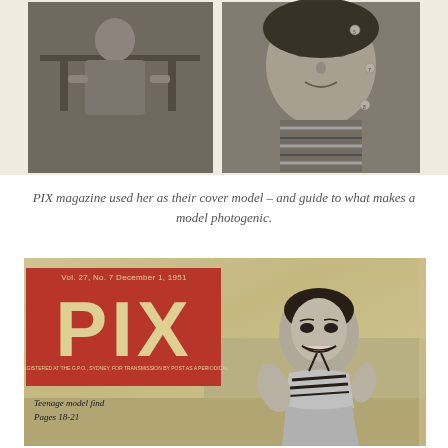[Figure (photo): Two black-and-white photographs side by side. Left photo shows a woman seated at a table. Right photo shows a close-up portrait of a woman wearing a striped garment.]
PIX magazine used her as their cover model – and guide to what makes a model photogenic.
[Figure (photo): PIX magazine cover, Vol. 27, No. 7, December 1, 1951. Features a red banner with 'PIX' in large yellow letters. A smiling woman in a striped swimsuit is posed on a beach. Text reads 'Teenage model find Pages 18-21'.]